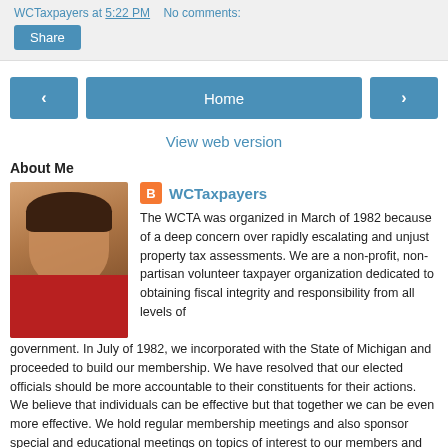WCTaxpayers at 5:22 PM   No comments:
Share
[Figure (screenshot): Navigation buttons: left arrow, Home, right arrow]
View web version
About Me
[Figure (photo): Profile photo of a woman in a red sweater]
WCTaxpayers
The WCTA was organized in March of 1982 because of a deep concern over rapidly escalating and unjust property tax assessments. We are a non-profit, non-partisan volunteer taxpayer organization dedicated to obtaining fiscal integrity and responsibility from all levels of government. In July of 1982, we incorporated with the State of Michigan and proceeded to build our membership. We have resolved that our elected officials should be more accountable to their constituents for their actions. We believe that individuals can be effective but that together we can be even more effective. We hold regular membership meetings and also sponsor special and educational meetings on topics of interest to our members and the